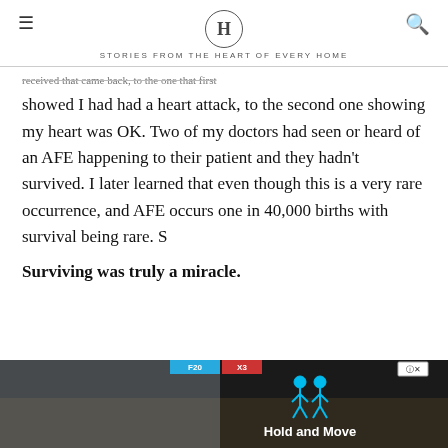H — STORIES FROM THE HEART OF EVERY HOME
...received that came back, to the one that first showed I had had a heart attack, to the second one showing my heart was OK. Two of my doctors had seen or heard of an AFE happening to their patient and they hadn't survived. I later learned that even though this is a very rare occurrence, and AFE occurs one in 40,000 births with survival being rare. S
Surviving was truly a miracle.
[Figure (screenshot): Advertisement banner at bottom of page showing a mobile game 'Hold and Move' with stick figures and trees background, with close button]